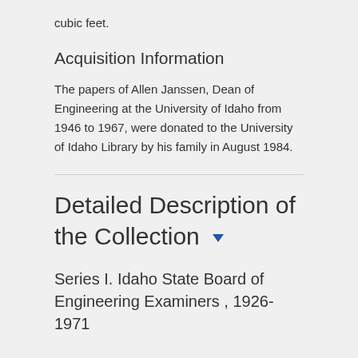cubic feet.
Acquisition Information
The papers of Allen Janssen, Dean of Engineering at the University of Idaho from 1946 to 1967, were donated to the University of Idaho Library by his family in August 1984.
Detailed Description of the Collection ▼
Series I. Idaho State Board of Engineering Examiners , 1926-1971